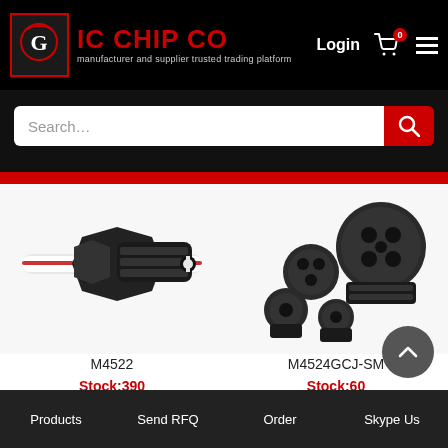[Figure (logo): IC CHIP CO logo with red border and eagle/G icon, black background header with brand name in red and tagline 'manufacturer and supplier trusted trading platform']
Login
[Figure (screenshot): Search bar with 'Search...' placeholder text and red search button with magnifying glass icon]
[Figure (photo): Product image of M4522 cable gland connector, black plastic, showing a white cable inserted through the connector]
M4522
Stock:390
[Figure (photo): Product image of M4524GCJ-SM cable gland connectors, black plastic, showing multiple sizes of multi-hole cable glands]
M4524GCJ-SM
Stock:60
Products   Send RFQ   Order   Skype Us